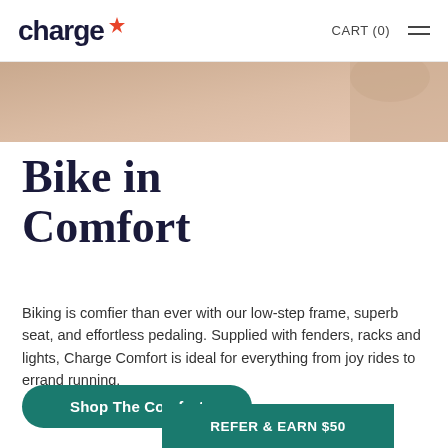charge CART (0)
[Figure (photo): Partial hero image showing a beige/peach toned background, cropped top portion of a bike or lifestyle photo]
Bike in Comfort
Biking is comfier than ever with our low-step frame, superb seat, and effortless pedaling. Supplied with fenders, racks and lights, Charge Comfort is ideal for everything from joy rides to errand running.
Shop The Comfort
REFER & EARN $50